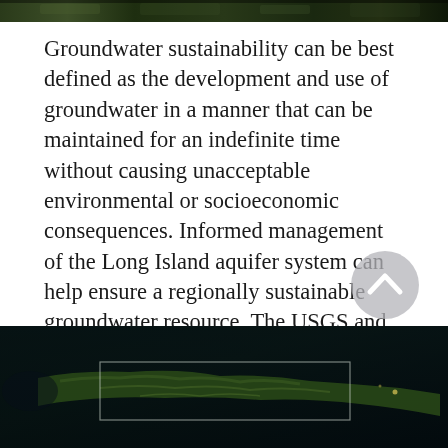[Figure (photo): Dark aerial or satellite image strip at the top of the page, showing dark landscape/water tones]
Groundwater sustainability can be best defined as the development and use of groundwater in a manner that can be maintained for an indefinite time without causing unacceptable environmental or socioeconomic consequences. Informed management of the Long Island aquifer system can help ensure a regionally sustainable groundwater resource. The USGS and New York State Department of Environmental...
Learn More →
[Figure (photo): Satellite/aerial map image of Long Island, New York, showing the island surrounded by dark water with a rectangular overlay outline]